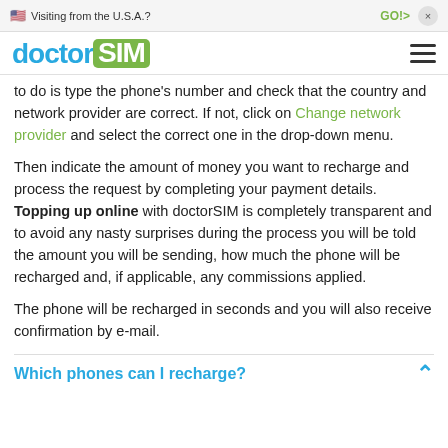🇺🇸 Visiting from the U.S.A.?   GO!>   ×
[Figure (logo): doctorSIM logo with hamburger menu icon]
to do is type the phone's number and check that the country and network provider are correct. If not, click on Change network provider and select the correct one in the drop-down menu.
Then indicate the amount of money you want to recharge and process the request by completing your payment details. Topping up online with doctorSIM is completely transparent and to avoid any nasty surprises during the process you will be told the amount you will be sending, how much the phone will be recharged and, if applicable, any commissions applied.
The phone will be recharged in seconds and you will also receive confirmation by e-mail.
Which phones can I recharge?